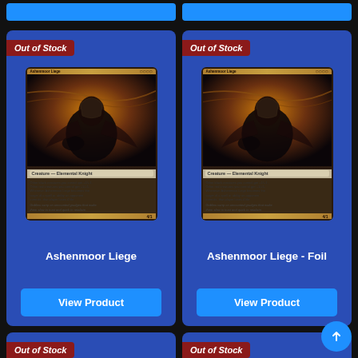[Figure (screenshot): Top partial strip showing two blue 'View Product' buttons at the top of the page]
[Figure (screenshot): Card product tile: Ashenmoor Liege, Out of Stock badge, card image of dark armored figure on horseback, View Product button]
Ashenmoor Liege
[Figure (screenshot): Card product tile: Ashenmoor Liege - Foil, Out of Stock badge, card image of dark armored figure on horseback, View Product button]
Ashenmoor Liege - Foil
[Figure (screenshot): Card product tile: Adept, Out of Stock badge, partial card image of crouching figure in swamp]
[Figure (screenshot): Card product tile: Adept - Foil, Out of Stock badge, partial card image of crouching figure in swamp]